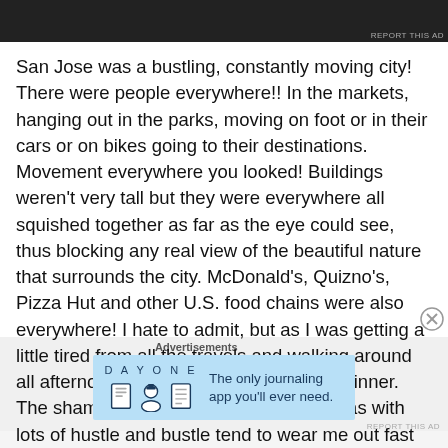[Figure (other): Top advertisement banner, dark/black background, partial view]
San Jose was a bustling, constantly moving city!  There were people everywhere!!  In the markets, hanging out in the parks, moving on foot or in their cars or on bikes going to their destinations.  Movement everywhere you looked!  Buildings weren't very tall but they were everywhere all squished together as far as the eye could see, thus blocking any real view of the beautiful nature that surrounds the city.  McDonald's, Quizno's, Pizza Hut and other U.S. food chains were also everywhere!  I hate to admit, but as I was getting a little tired from all the travels and walking around all afternoon, I did drift to a Quizno's for dinner.  The shame, I know!!  But crowds and areas with lots of hustle and bustle tend to wear me out fast and it was nice to get a little food that I could relate to, so to
Advertisements
[Figure (other): Day One journaling app advertisement banner with blue background, app icons, and text: The only journaling app you'll ever need.]